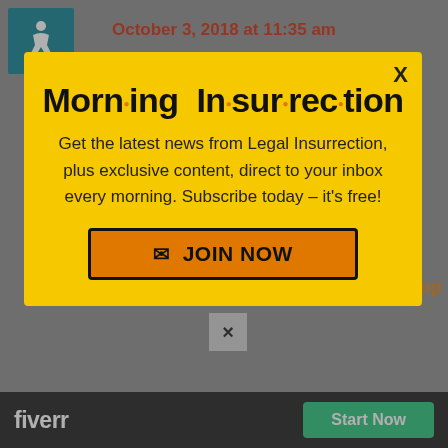[Figure (screenshot): Accessibility icon (wheelchair user) on teal background, top-left corner]
October 3, 2018 at 11:35 am
Based on recent history, I doubt that the FBI would investigate
[Figure (infographic): Morning Insurrection newsletter subscription popup modal with yellow background. Title: 'Morn·ing In·sur·rec·tion'. Body text: 'Get the latest news from Legal Insurrection, plus exclusive content, direct to your inbox every morning. Subscribe today – it's free!' JOIN NOW button with envelope icon. X close button top right.]
FBI agent Monica McLean is Ford's
[Figure (screenshot): Fiverr advertisement bar at bottom: fiverr logo and 'Start Now' green button]